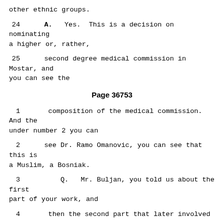other ethnic groups.
24    A.   Yes.  This is a decision on nominating a higher or, rather,
25     second degree medical commission in Mostar, and you can see the
Page 36753
1      composition of the medical commission.  And the under number 2 you can
2      see Dr. Ramo Omanovic, you can see that this is a Muslim, a Bosniak.
3      Q.   Mr. Buljan, you told us about the first part of your work, and
4      then the second part that later involved